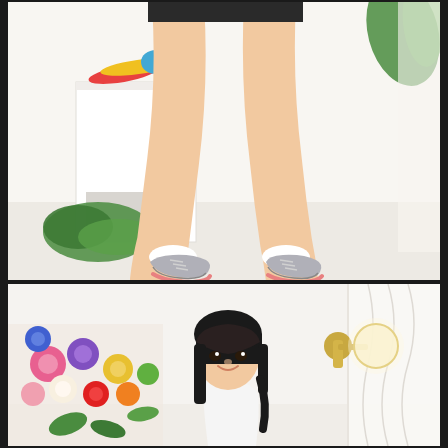[Figure (photo): Close-up photo of a person's legs wearing black shorts and gray sneakers with white socks, standing in a bright white studio room. There is a white pedestal with colorful exercise equipment (yellow, red bands, blue item) on top, and green plants visible on the floor and in the top right corner.]
[Figure (photo): Photo of a young Asian woman with dark hair wearing a white outfit, smiling. She is standing in a bright white room with a colorful flower wall arrangement on the left side (pink, purple, yellow flowers) and a gold spherical wall lamp on the right side. White curtains are visible in the background.]